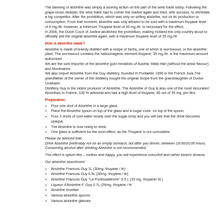The banning of absinthe was simply a slurring action on the part of the wine trade lobby. Following the grape-louse disaster, the wine trade had to corner the market again and tried, with success, to eliminate a big competitor. After the prohibition, which was only on selling absinthe, not on its production or consumption. From that moment, absinthe was only allowed to be sold with a maximum thuyane level of 6 mg./ltr. However, a minimum Thuyane level of 20 mg./ltr. is necessary for the effect.
In 2006, the Dutch Court of Justice abolished the prohibition, making Holland the only country aloud to officially sell the original absinthe again, with a maximum thuyane level of 35 mg./ltr.
How is absinthe made?
Absinthe is made of brandy distilled with a recipe of herbs, one of which is wormwood, or the absinthe plant. The wormwood contains the hallucinagenic element thuyane; 35 mg./ltr. is the maximum amount authorized.
We are the sole importer of the absinthe gold medalists of Austria: Mata Hari (without the anise flavour) and Montmartre.
We also import Absinthe from the Guy distillery, founded in Pontarlier 1890 in the French Jura.The grandfather of the owner of the distillery bought the original recipe from the granddaughter of Doctor Ordinaire.
Distillery Guy is the oldest producer of Absinthe. The Absinthe of Guy is also one of the most decorated Absinthes in France, 100 % artesinal and has a high level of thuyane; 30 out of 35 mg. per litre.
Preparation:
Pour one shot of Absinthe in a large glass.
Place the Absinthe spoon on top of the glass and a sugar cube on top of the spoon.
Pour 2 shots of cold water slowly over the sugar lump and you will see that the drink becomes opaque.
The Absinthe is now ready to drink.
One glass is sufficient for the lucid effect, as the Thuyane is not cumulative
Please be adviced that:
Drink Absinthe preferably not on an empty stomach, but after you dinner, between 19:00/20:00 hours. Consuming alcohol after drinking Absinthe is not recommended.
The effect is opium-like – mellow and happy, you will experience colourfull and rather bizarre dreams.
Our absinthe assortment:
Absinthe Francois Guy 1L (30mg. thuyane / ltr)
Absinthe Francois Guy 0.5L (30mg. thuyane / ltr)
Absinthe Francois Guy "La Pontissallienne" 0.5 L (33 mg. thuyane/ ltr.)
Liqueur d'Absinthe F. Guy 0.7L (26mg. thuyane / ltr
Absinthe fountain
Various absinthe spoons
Various absinthe glasses